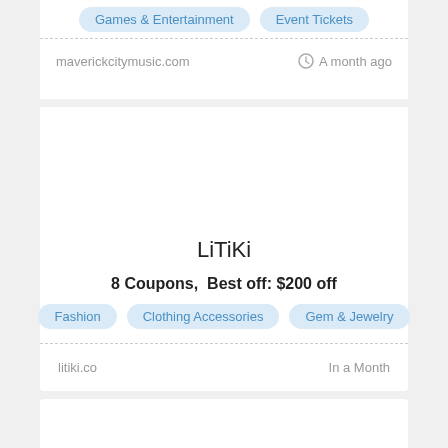Games & Entertainment
Event Tickets
maverickcitymusic.com
A month ago
LiTiKi
8 Coupons,  Best off: $200 off
Fashion
Clothing Accessories
Gem & Jewelry
litiki.co
In a Month